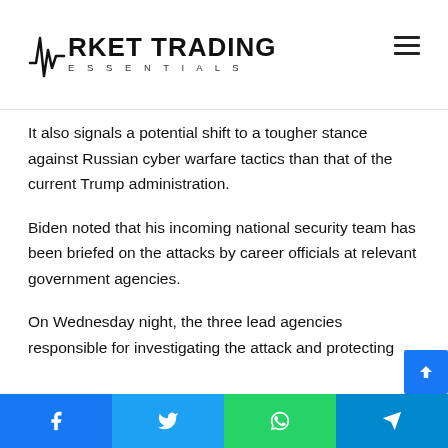Market Trading Essentials
It also signals a potential shift to a tougher stance against Russian cyber warfare tactics than that of the current Trump administration.
Biden noted that his incoming national security team has been briefed on the attacks by career officials at relevant government agencies.
On Wednesday night, the three lead agencies responsible for investigating the attack and protecting the nation from cyber threats, the FBI, the Cybersecurity and Infrastructure Security Agency (CISA) and the Office of the Director of National